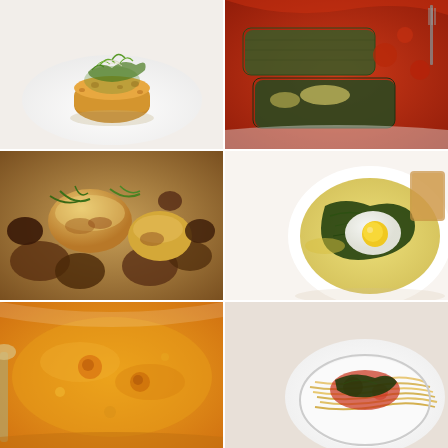[Figure (photo): A golden-brown fried crab cake or similar breaded dish topped with fresh green arugula/herb salad on a white plate]
[Figure (photo): Baked stuffed pasta rolls or involtini in red tomato sauce on a white plate, with a fork visible]
[Figure (photo): Seared scallops with mushrooms garnished with chopped chives/herbs on a white plate]
[Figure (photo): A poached egg in yellow broth with dark leafy greens (kale or chard) in a white bowl with toasted bread]
[Figure (photo): Close-up of orange-yellow soup with visible ingredients in a bowl with a spoon]
[Figure (photo): Spaghetti pasta with tomato sauce and dark leafy greens in a white bowl]